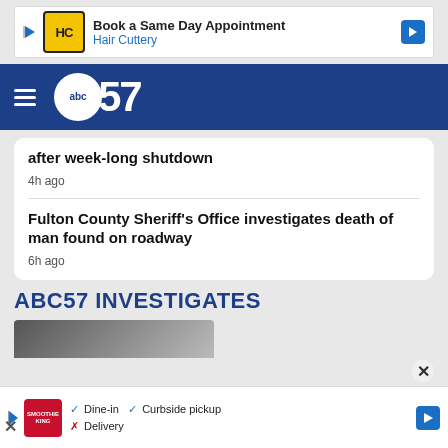[Figure (screenshot): Hair Cuttery ad banner: HC logo, 'Book a Same Day Appointment', 'Hair Cuttery', blue navigation arrow icon]
abc57 navigation bar with hamburger menu and abc57 logo
after week-long shutdown
4h ago
Fulton County Sheriff's Office investigates death of man found on roadway
6h ago
ABC57 INVESTIGATES
[Figure (photo): Partial image thumbnail at bottom of ABC57 Investigates section]
[Figure (screenshot): Bottom ad banner: Smoothie King logo, Dine-in checkmark, Curbside pickup checkmark, Delivery X, blue navigation arrow icon]